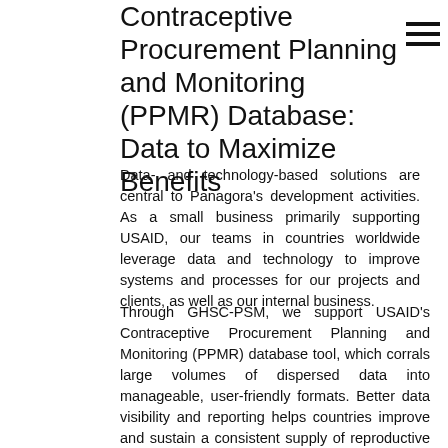Contraceptive Procurement Planning and Monitoring (PPMR) Database: Data to Maximize Benefits
Data- and technology-based solutions are central to Panagora's development activities. As a small business primarily supporting USAID, our teams in countries worldwide leverage data and technology to improve systems and processes for our projects and clients, as well as our internal business.
Through GHSC-PSM, we support USAID's Contraceptive Procurement Planning and Monitoring (PPMR) database tool, which corrals large volumes of dispersed data into manageable, user-friendly formats. Better data visibility and reporting helps countries improve and sustain a consistent supply of reproductive health commodities where they are needed most.